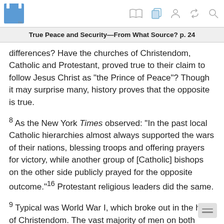True Peace and Security—From What Source? p. 24
differences? Have the churches of Christendom, Catholic and Protestant, proved true to their claim to follow Jesus Christ as “the Prince of Peace”? Though it may surprise many, history proves that the opposite is true.
8 As the New York Times observed: “In the past local Catholic hierarchies almost always supported the wars of their nations, blessing troops and offering prayers for victory, while another group of [Catholic] bishops on the other side publicly prayed for the opposite outcome.”16 Protestant religious leaders did the same.
9 Typical was World War I, which broke out in the heart of Christendom. The vast majority of men on both sides were of the same religions. The Belgian